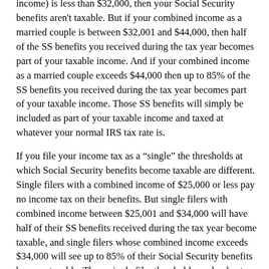income) is less than $32,000, then your Social Security benefits aren't taxable. But if your combined income as a married couple is between $32,001 and $44,000, then half of the SS benefits you received during the tax year becomes part of your taxable income. And if your combined income as a married couple exceeds $44,000 then up to 85% of the SS benefits you received during the tax year becomes part of your taxable income. Those SS benefits will simply be included as part of your taxable income and taxed at whatever your normal IRS tax rate is.
If you file your income tax as a “single” the thresholds at which Social Security benefits become taxable are different. Single filers with a combined income of $25,000 or less pay no income tax on their benefits. But single filers with combined income between $25,001 and $34,000 will have half of their SS benefits received during the tax year become taxable, and single filers whose combined income exceeds $34,000 will see up to 85% of their Social Security benefits become taxable. These single filer thresholds apply also to those filing as Single Head of Household